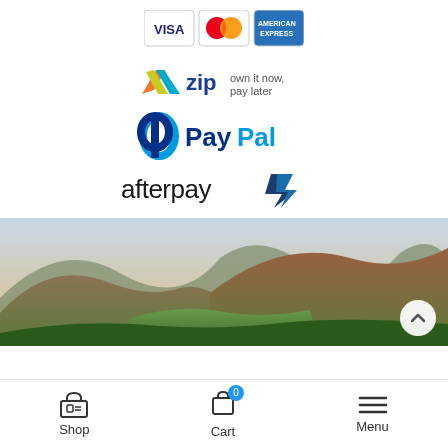[Figure (logo): Payment logos: Visa, MasterCard, American Express cards]
[Figure (logo): Zip - own it now, pay later logo]
[Figure (logo): PayPal logo]
[Figure (logo): Afterpay logo]
[Figure (photo): Landscape photo of green hills and mountains under hazy sky]
Shop  Cart  Menu